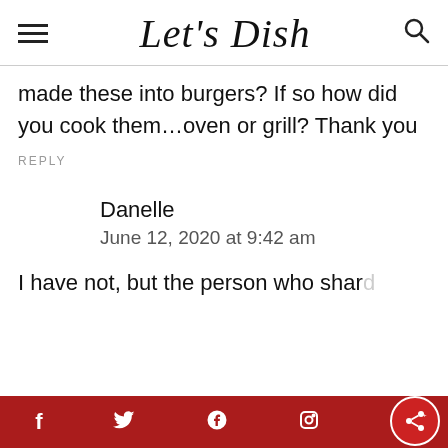Let's Dish
made these into burgers? If so how did you cook them…oven or grill? Thank you
REPLY
Danelle
June 12, 2020 at 9:42 am
I have not, but the person who shar...
f  t  p  (email)  (share)